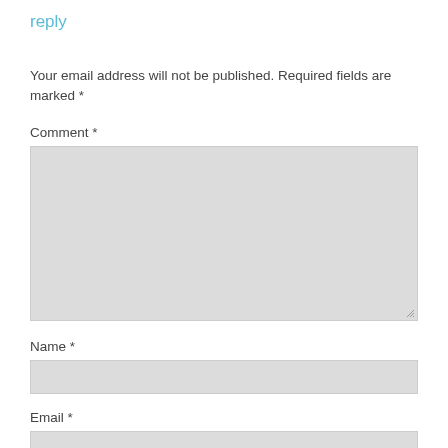reply
Your email address will not be published. Required fields are marked *
Comment *
[Figure (other): Comment textarea input field with resize handle]
Name *
[Figure (other): Name text input field]
Email *
[Figure (other): Email text input field]
Website